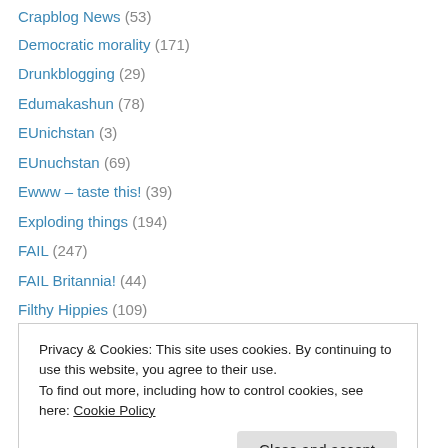Crapblog News (53)
Democratic morality (171)
Drunkblogging (29)
Edumakashun (78)
EUnichstan (3)
EUnuchstan (69)
Ewww – taste this! (39)
Exploding things (194)
FAIL (247)
FAIL Britannia! (44)
Filthy Hippies (109)
Fuck Cancer (4)
Fucking Markets (49)
Privacy & Cookies: This site uses cookies. By continuing to use this website, you agree to their use. To find out more, including how to control cookies, see here: Cookie Policy
GOP FAIL (176)